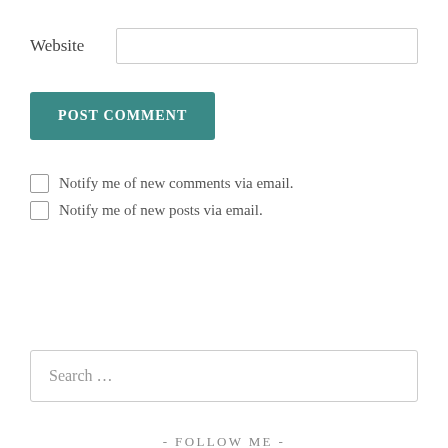Website
POST COMMENT
Notify me of new comments via email.
Notify me of new posts via email.
Search …
- FOLLOW ME -